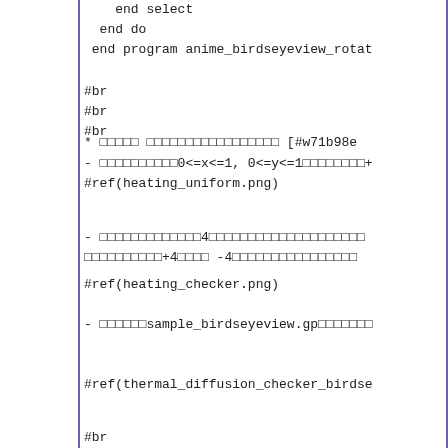end select
  end do
 end program anime_birdseyeview_rotat
#br
#br
#br
* □□□□□ □□□□□□□□□□□□□□□□□ [#w71b98e
- □□□□□□□□□□0<=x<=1, 0<=y<=1□□□□□□□□+
#ref(heating_uniform.png)
- □□□□□□□□□□□□□4□□□□□□□□□□□□□□□□□□□□□
□□□□□□□□□□+4□□□□ -4□□□□□□□□□□□□□□□□
#ref(heating_checker.png)
- □□□□□□sample_birdseyeview.gp□□□□□□□
#ref(thermal_diffusion_checker_birdse
#br
#br